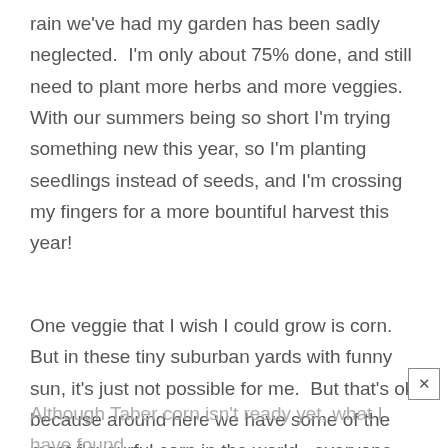rain we've had my garden has been sadly neglected.  I'm only about 75% done, and still need to plant more herbs and more veggies.  With our summers being so short I'm trying something new this year, so I'm planting seedlings instead of seeds, and I'm crossing my fingers for a more bountiful harvest this year!
One veggie that I wish I could grow is corn.  But in these tiny suburban yards with funny sun, it's just not possible for me.  But that's ok because around here we have some of the most flavourful corn in the world...everyone waits patiently for Taber corn!
Although Taber corn isn't ready yet, what I have found